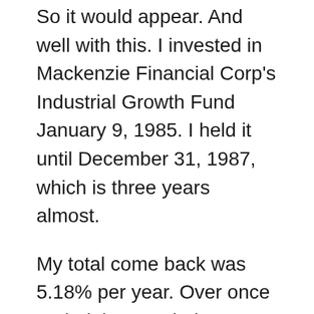So it would appear. And well with this. I invested in Mackenzie Financial Corp's Industrial Growth Fund January 9, 1985. I held it until December 31, 1987, which is three years almost.
My total come back was 5.18% per year. Over once period the TSX index showed an increase of 10.2% per year. Here I acquired a positive come back but it was lower than the market. On January 30, 1992 I invested in Altamira's Equity Fund. I sold this on October 16, 1998. This is over 6 years just.
My total return was 5.7% per 12 months. Over the same time period the TSX index